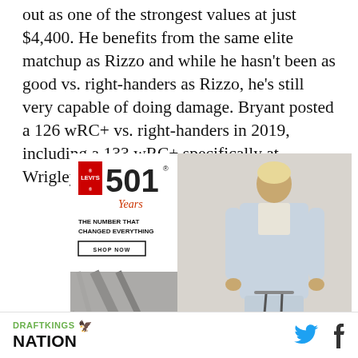out as one of the strongest values at just $4,400. He benefits from the same elite matchup as Rizzo and while he hasn't been as good vs. right-handers as Rizzo, he's still very capable of doing damage. Bryant posted a 126 wRC+ vs. right-handers in 2019, including a 133 wRC+ specifically at Wrigley Field.
[Figure (photo): Levi's 501 advertisement featuring a man wearing an all-denim outfit and a bottom-left image of jeans close-up in black and white.]
DRAFTKINGS NATION